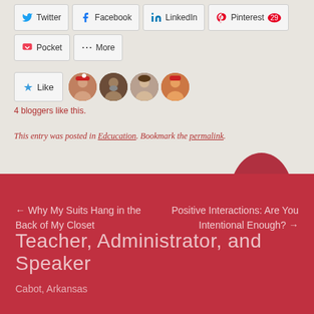[Figure (other): Social sharing buttons row: Twitter, Facebook, LinkedIn, Pinterest(29)]
[Figure (other): Share buttons row 2: Pocket, More]
[Figure (other): Like button with star icon and 4 blogger avatars]
4 bloggers like this.
This entry was posted in Edcucation. Bookmark the permalink.
← Why My Suits Hang in the Back of My Closet
Positive Interactions: Are You Intentional Enough? →
Teacher, Administrator, and Speaker
Cabot, Arkansas